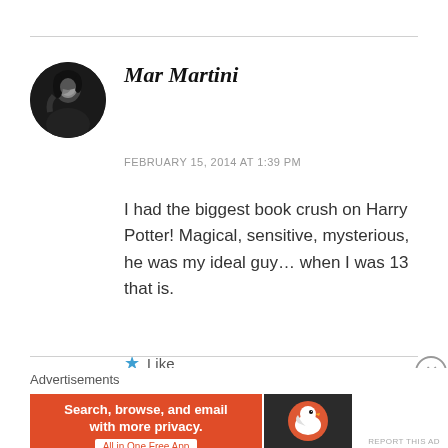[Figure (photo): Circular avatar photo of Mar Martini, black and white photo of a woman]
Mar Martini
FEBRUARY 15, 2014 AT 1:39 PM
I had the biggest book crush on Harry Potter! Magical, sensitive, mysterious, he was my ideal guy… when I was 13 that is.
Like
Advertisements
[Figure (screenshot): DuckDuckGo advertisement banner: 'Search, browse, and email with more privacy. All in One Free App' with DuckDuckGo duck logo on dark background]